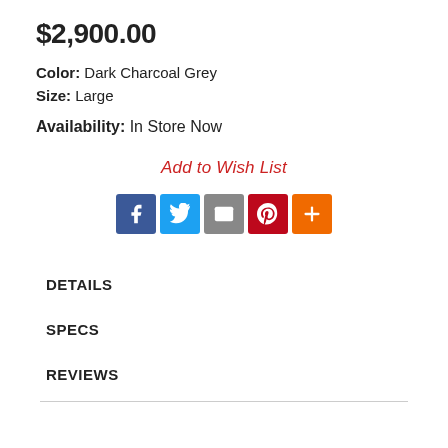$2,900.00
Color: Dark Charcoal Grey
Size: Large
Availability: In Store Now
Add to Wish List
[Figure (infographic): Social sharing icons: Facebook (blue), Twitter (light blue), Email (grey), Pinterest (red), More/Plus (orange)]
DETAILS
SPECS
REVIEWS